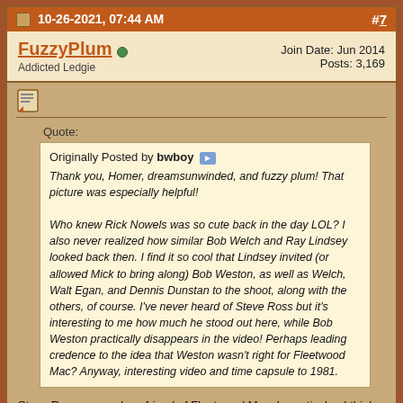10-26-2021, 07:44 AM  #7
FuzzyPlum  Addicted Ledgie  Join Date: Jun 2014  Posts: 3,169
Quote:
Originally Posted by bwboy
Thank you, Homer, dreamsunwinded, and fuzzy plum! That picture was especially helpful!

Who knew Rick Nowels was so cute back in the day LOL? I also never realized how similar Bob Welch and Ray Lindsey looked back then. I find it so cool that Lindsey invited (or allowed Mick to bring along) Bob Weston, as well as Welch, Walt Egan, and Dennis Dunstan to the shoot, along with the others, of course. I've never heard of Steve Ross but it's interesting to me how much he stood out here, while Bob Weston practically disappears in the video! Perhaps leading credence to the idea that Weston wasn't right for Fleetwood Mac? Anyway, interesting video and time capsule to 1981.
Steve Ross was a close friend of Fleetwood Mac. In particular, I think he was Lindsey's best mate for a few years. He contributed to Fleetwood's I'm Not Me and featured heavily in the Angel Come Home video.